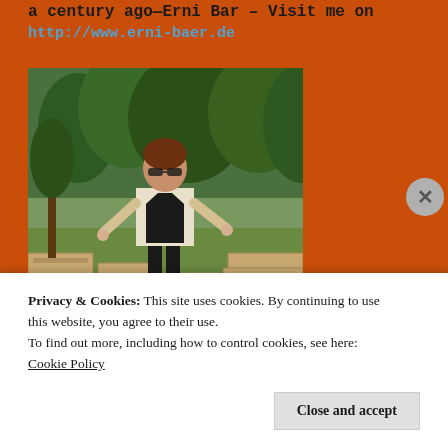a century ago—Erni Bar – Visit me on http://www.erni-baer.de
[Figure (photo): A woman in a white blazer and dark pants stands outdoors among wooden planter boxes with trees in the background.]
Privacy & Cookies: This site uses cookies. By continuing to use this website, you agree to their use.
To find out more, including how to control cookies, see here: Cookie Policy
Close and accept